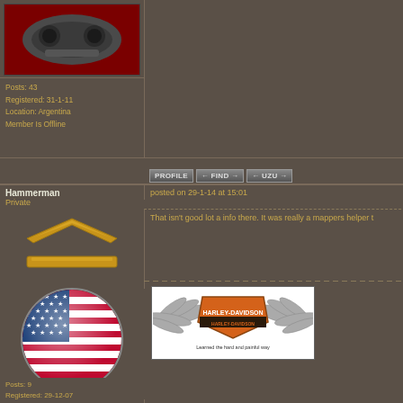[Figure (photo): Dark mechanical part (engine/motor component) on red background - user avatar image]
Posts: 43
Registered: 31-1-11
Location: Argentina
Member Is Offline
PROFILE   FIND   UZU
Hammerman
Private
posted on 29-1-14 at 15:01
[Figure (illustration): Gold chevron rank insignia (two chevrons) - military private rank symbol]
That isn't good lot a info there. It was really a mappers helper t
[Figure (illustration): American flag rendered as a circular glossy button/badge]
[Figure (illustration): Harley-Davidson logo with wings graphic, text below reads 'Learned the hard and painful way']
Posts: 9
Registered: 29-12-07
Member Is Offline